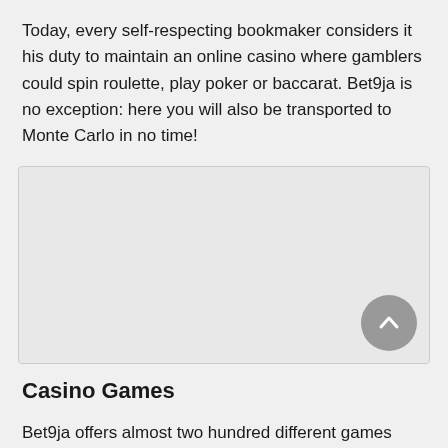Today, every self-respecting bookmaker considers it his duty to maintain an online casino where gamblers could spin roulette, play poker or baccarat. Bet9ja is no exception: here you will also be transported to Monte Carlo in no time!
[Figure (other): A light gray rectangular placeholder image box with a circular scroll-to-top button in the bottom right corner.]
Casino Games
Bet9ja offers almost two hundred different games from the world's top manufacturers to choose from for fans of gambling